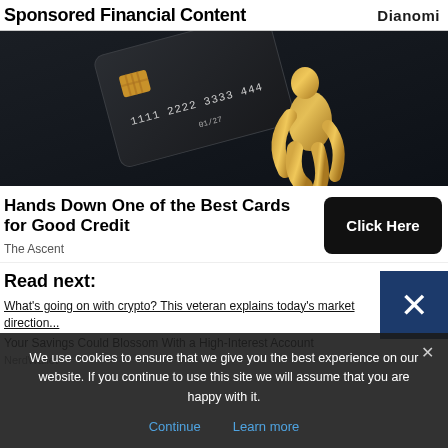Sponsored Financial Content
[Figure (photo): Dark background image showing a black premium credit card with gold chip and numbers '1111 2222 3333 444', alongside a gold metallic sculptural figure in a crouching pose]
Hands Down One of the Best Cards for Good Credit
The Ascent
Read next:
What's going on with crypto? This veteran explains today's market direction...
Your Savings Could Blossom With a High-Interest Account
NerdWallet
We use cookies to ensure that we give you the best experience on our website. If you continue to use this site we will assume that you are happy with it.